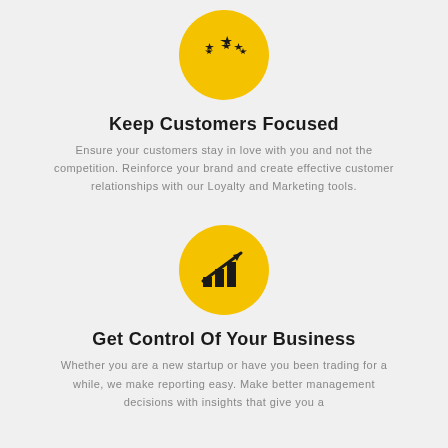[Figure (illustration): Yellow circle with three black stars icon]
Keep Customers Focused
Ensure your customers stay in love with you and not the competition. Reinforce your brand and create effective customer relationships with our Loyalty and Marketing tools.
[Figure (illustration): Yellow circle with black bar chart and upward arrow icon]
Get Control Of Your Business
Whether you are a new startup or have you been trading for a while, we make reporting easy. Make better management decisions with insights that give you a